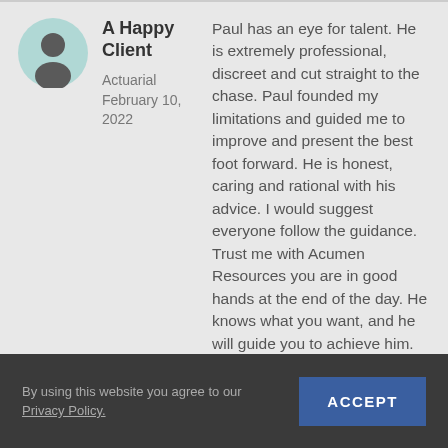A Happy Client
Actuarial
February 10, 2022
Paul has an eye for talent. He is extremely professional, discreet and cut straight to the chase. Paul founded my limitations and guided me to improve and present the best foot forward. He is honest, caring and rational with his advice. I would suggest everyone follow the guidance. Trust me with Acumen Resources you are in good hands at the end of the day. He knows what you want, and he will guide you to achieve him. Just believe in yourself and trust his guidance.
By using this website you agree to our Privacy Policy.